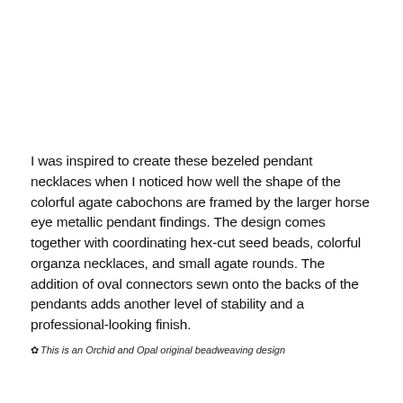I was inspired to create these bezeled pendant necklaces when I noticed how well the shape of the colorful agate cabochons are framed by the larger horse eye metallic pendant findings. The design comes together with coordinating hex-cut seed beads, colorful organza necklaces, and small agate rounds. The addition of oval connectors sewn onto the backs of the pendants adds another level of stability and a professional-looking finish.
✿ This is an Orchid and Opal original beadweaving design